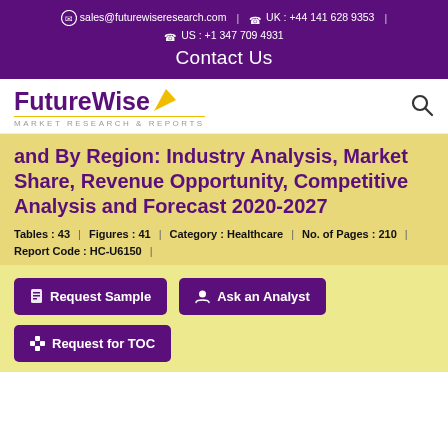sales@futurewiseresearch.com | UK : +44 141 628 9353 | US : +1 347 709 4931
Contact Us
[Figure (logo): FutureWise Market Research & Reports logo with yellow arrow and purple text]
and By Region: Industry Analysis, Market Share, Revenue Opportunity, Competitive Analysis and Forecast 2020-2027
Tables : 43 | Figures : 41 | Category : Healthcare | No. of Pages : 210
Report Code : HC-U6150
Request Sample
Ask an Analyst
Request for TOC